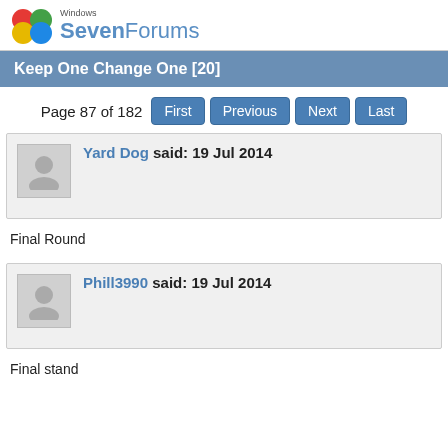Windows SevenForums
Keep One Change One [20]
Page 87 of 182  First  Previous  Next  Last
Yard Dog said: 19 Jul 2014
Final Round
Phill3990 said: 19 Jul 2014
Final stand